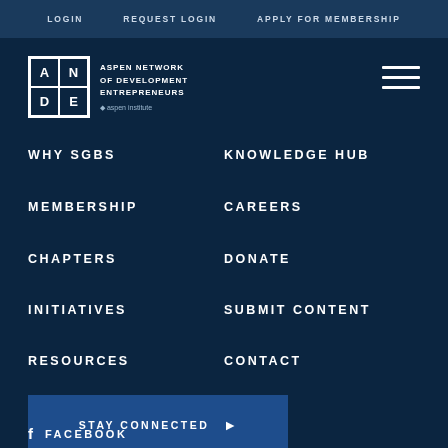LOGIN   REQUEST LOGIN   APPLY FOR MEMBERSHIP
[Figure (logo): ANDE - Aspen Network of Development Entrepreneurs logo with Aspen Institute mark]
WHY SGBS
KNOWLEDGE HUB
MEMBERSHIP
CAREERS
CHAPTERS
DONATE
INITIATIVES
SUBMIT CONTENT
RESOURCES
CONTACT
STAY CONNECTED ▶
FACEBOOK